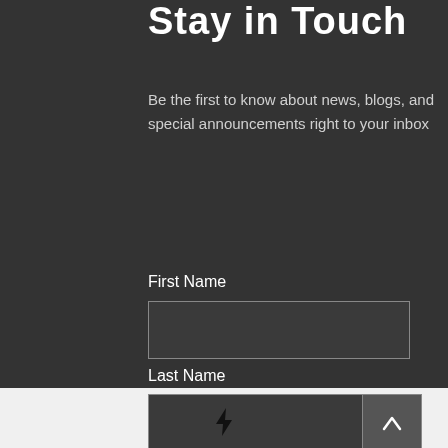Stay in Touch
Be the first to know about news, blogs, and special announcements right to your inbox
First Name
Last Name
[Figure (illustration): Lightning bolt icon in a light gray footer section]